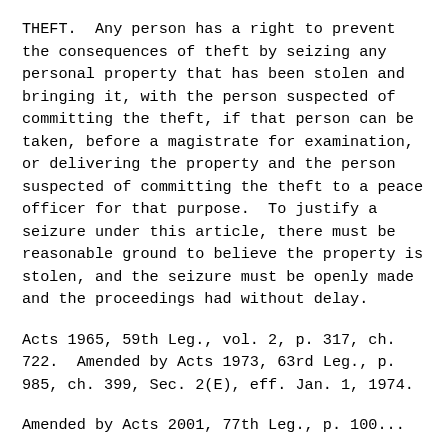THEFT.  Any person has a right to prevent the consequences of theft by seizing any personal property that has been stolen and bringing it, with the person suspected of committing the theft, if that person can be taken, before a magistrate for examination, or delivering the property and the person suspected of committing the theft to a peace officer for that purpose.  To justify a seizure under this article, there must be reasonable ground to believe the property is stolen, and the seizure must be openly made and the proceedings had without delay.
Acts 1965, 59th Leg., vol. 2, p. 317, ch. 722.  Amended by Acts 1973, 63rd Leg., p. 985, ch. 399, Sec. 2(E), eff. Jan. 1, 1974.
Amended by Acts 2001, 77th Leg., p. 100...